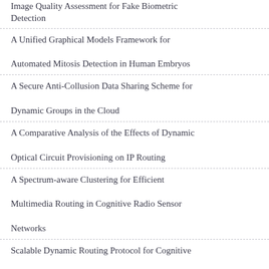Image Quality Assessment for Fake Biometric Detection
A Unified Graphical Models Framework for Automated Mitosis Detection in Human Embryos
A Secure Anti-Collusion Data Sharing Scheme for Dynamic Groups in the Cloud
A Comparative Analysis of the Effects of Dynamic Optical Circuit Provisioning on IP Routing
A Spectrum-aware Clustering for Efficient Multimedia Routing in Cognitive Radio Sensor Networks
Scalable Dynamic Routing Protocol for Cognitive